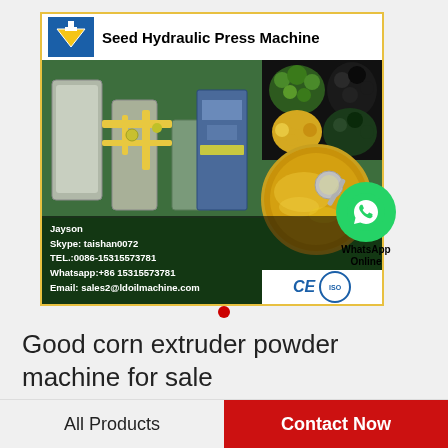[Figure (photo): Product advertisement image for Seed Hydraulic Press Machine showing industrial machinery, seeds, and oil with contact information overlay. Features logo, WhatsApp contact button, CE and ISO certifications.]
Good corn extruder powder machine for sale
All Products
Contact Now